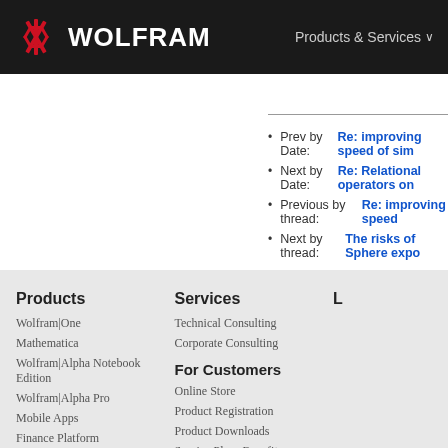WOLFRAM | Products & Services
Prev by Date: Re: improving speed of sim
Next by Date: Re: Relational operators on
Previous by thread: Re: improving speed
Next by thread: The risks of Sphere expo
Products
Wolfram|One
Mathematica
Wolfram|Alpha Notebook Edition
Wolfram|Alpha Pro
Mobile Apps
Finance Platform
System Modeler
Wolfram Player
Wolfram Engine
WolframScript
Services
Technical Consulting
Corporate Consulting
For Customers
Online Store
Product Registration
Product Downloads
Service Plans Benefits
User Portal
Your Account